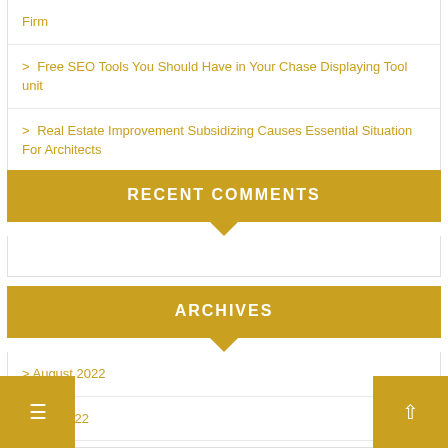Firm
Free SEO Tools You Should Have in Your Chase Displaying Tool unit
Real Estate Improvement Subsidizing Causes Essential Situation For Architects
RECENT COMMENTS
ARCHIVES
August 2022
July 2022
June 2022